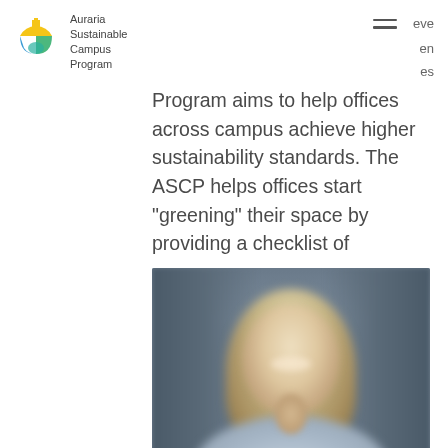Auraria Sustainable Campus Program
Program aims to help offices across campus achieve higher sustainability standards. The ASCP helps offices start "greening" their space by providing a checklist of
[Figure (photo): Blurred portrait photo of a smiling woman with long blonde hair, wearing a light blue top, photographed outdoors against a blurred grey background.]